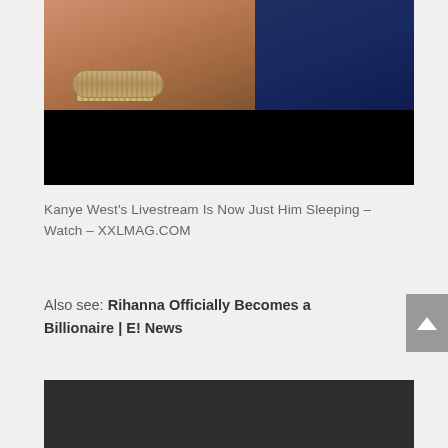[Figure (photo): Close-up photo showing a person's wrist with a decorative bracelet/bangle, and blue fabric/clothing in background. Lower portion is black (video player area).]
Kanye West's Livestream Is Now Just Him Sleeping – Watch – XXLMAG.COM
Also see: Rihanna Officially Becomes a Billionaire | E! News
[Figure (photo): Dark/black image area at bottom of page, likely another video thumbnail.]